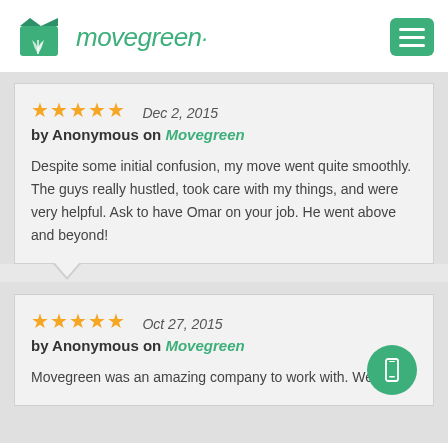[Figure (logo): Movegreen logo with green box/leaf icon and italic green text 'movegreen·' and hamburger menu icon on the right]
★★★★★   Dec 2, 2015
by Anonymous on Movegreen

Despite some initial confusion, my move went quite smoothly. The guys really hustled, took care with my things, and were very helpful. Ask to have Omar on your job. He went above and beyond!
★★★★★   Oct 27, 2015
by Anonymous on Movegreen

Movegreen was an amazing company to work with. We hired